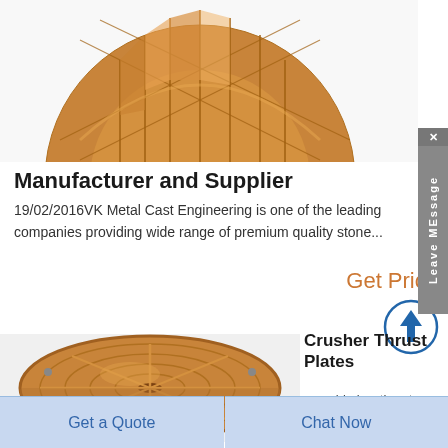[Figure (photo): Gold/copper colored circular stone crusher wear part with grid pattern, viewed from above, partial top crop]
Manufacturer and Supplier
19/02/2016VK Metal Cast Engineering is one of the leading companies providing wide range of premium quality stone...
Get Price
[Figure (photo): Circular copper/bronze crusher thrust plate with radial and concentric ring patterns and bolt holes, viewed from above]
Crusher Thrust Plates
movable jaw thrust plate -...